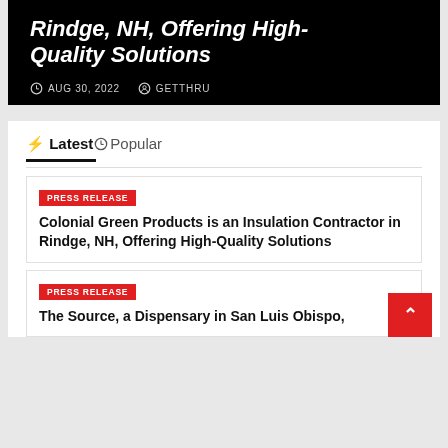Rindge, NH, Offering High-Quality Solutions
AUG 30, 2022   GETTHRU
⚡ Latest⊙ Popular
PRESS RELEASE
Colonial Green Products is an Insulation Contractor in Rindge, NH, Offering High-Quality Solutions
PRESS RELEASE
The Source, a Dispensary in San Luis Obispo,